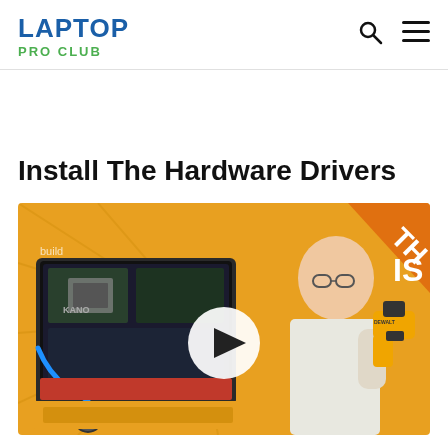LAPTOP PRO CLUB
Install The Hardware Drivers
[Figure (screenshot): Video thumbnail showing a man holding a DeWalt drill next to a Kano laptop computer kit on a yellow background, with a white circular play button overlay in the center. Text visible: 'build', 'THIS', 'KANO'.]